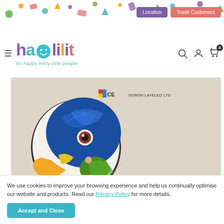[Figure (screenshot): Halilit website header with colorful confetti decorative banner at top, navigation buttons for Location and Trade Customers, hamburger menu, Halilit logo with smiley face, tagline 'for happy lively little people', search/account/cart icons]
[Figure (photo): Close-up photo of a colorful parrot puzzle piece with blue feathers, orange beak, on a light beige background, with CE and Doron Layeled Ltd logo visible]
We use cookies to improve your browsing experience and help us continually optimise our website and products. Read our Privacy Policy for more details.
Accept and Close